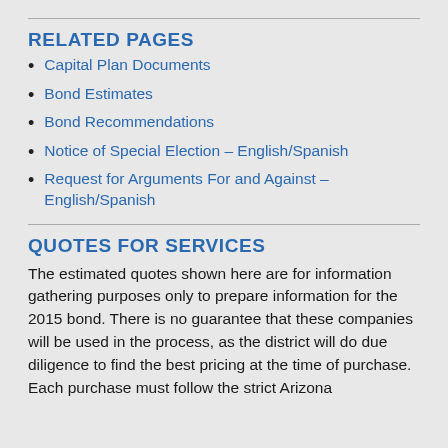RELATED PAGES
Capital Plan Documents
Bond Estimates
Bond Recommendations
Notice of Special Election – English/Spanish
Request for Arguments For and Against – English/Spanish
QUOTES FOR SERVICES
The estimated quotes shown here are for information gathering purposes only to prepare information for the 2015 bond. There is no guarantee that these companies will be used in the process, as the district will do due diligence to find the best pricing at the time of purchase. Each purchase must follow the strict Arizona